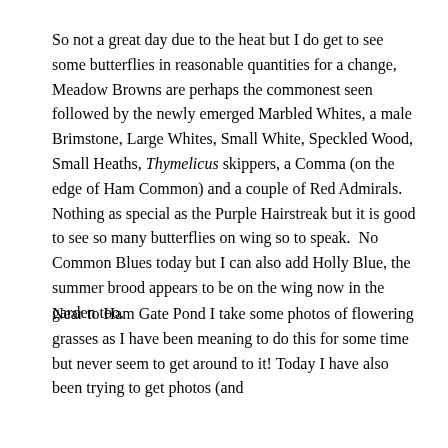So not a great day due to the heat but I do get to see some butterflies in reasonable quantities for a change, Meadow Browns are perhaps the commonest seen followed by the newly emerged Marbled Whites, a male Brimstone, Large Whites, Small White, Speckled Wood, Small Heaths, Thymelicus skippers, a Comma (on the edge of Ham Common) and a couple of Red Admirals.  Nothing as special as the Purple Hairstreak but it is good to see so many butterflies on wing so to speak.  No Common Blues today but I can also add Holly Blue, the summer brood appears to be on the wing now in the garden too.
Near to Ham Gate Pond I take some photos of flowering grasses as I have been meaning to do this for some time but never seem to get around to it! Today I have also been trying to get photos (and